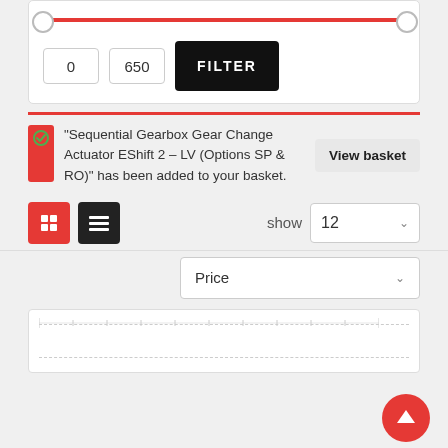[Figure (screenshot): A price range slider with red track, left thumb at 0, right thumb at far right end]
0
650
FILTER
"Sequential Gearbox Gear Change Actuator EShift 2 – LV (Options SP & RO)" has been added to your basket.
View basket
show
12
Price
[Figure (screenshot): Partial product listing card visible at bottom, with dotted border]
[Figure (other): Red circular scroll-to-top button with upward arrow]